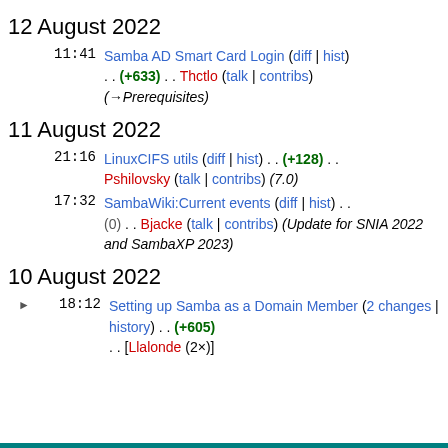12 August 2022
11:41  Samba AD Smart Card Login (diff | hist) . . (+633) . . Thctlo (talk | contribs) (→Prerequisites)
11 August 2022
21:16  LinuxCIFS utils (diff | hist) . . (+128) . . Pshilovsky (talk | contribs) (7.0)
17:32  SambaWiki:Current events (diff | hist) . . (0) . . Bjacke (talk | contribs) (Update for SNIA 2022 and SambaXP 2023)
10 August 2022
18:12  Setting up Samba as a Domain Member (2 changes | history) . . (+605) . . [Llalonde (2×)]